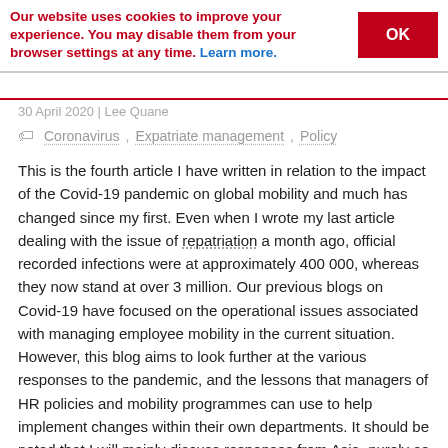Our website uses cookies to improve your experience. You may disable them from your browser settings at any time. Learn more. [OK button]
30 April 2020 | Lee Quane
Coronavirus, Expatriate management, Policy
This is the fourth article I have written in relation to the impact of the Covid-19 pandemic on global mobility and much has changed since my first. Even when I wrote my last article dealing with the issue of repatriation a month ago, official recorded infections were at approximately 400 000, whereas they now stand at over 3 million. Our previous blogs on Covid-19 have focused on the operational issues associated with managing employee mobility in the current situation. However, this blog aims to look further at the various responses to the pandemic, and the lessons that managers of HR policies and mobility programmes can use to help implement changes within their own departments. It should be noted that I will mainly discuss responses from Asia, purely as I am